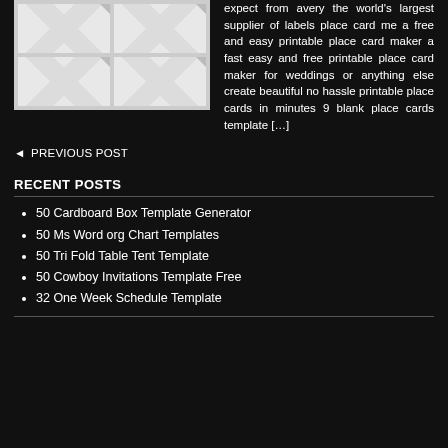[Figure (illustration): Four blank place card templates arranged in a 2x2 grid on a light grey background, each with a diagonal fold mark in the top-right corner.]
expect from avery the world's largest supplier of labels place card me a free and easy printable place card maker a fast easy and free printable place card maker for weddings or anything else create beautiful no hassle printable place cards in minutes 9 blank place cards template […]
◄ PREVIOUS POST
RECENT POSTS
50 Cardboard Box Template Generator
50 Ms Word org Chart Templates
50 Tri Fold Table Tent Template
50 Cowboy Invitations Template Free
32 One Week Schedule Template